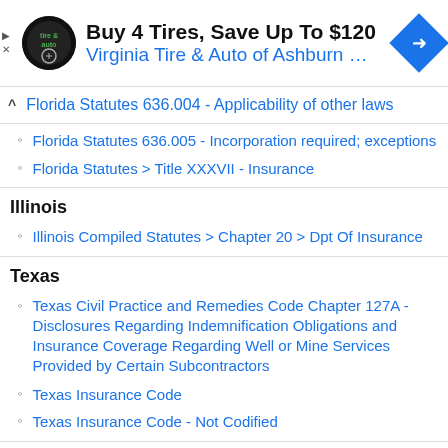[Figure (other): Advertisement banner: Virginia Tire & Auto of Ashburn logo, headline 'Buy 4 Tires, Save Up To $120', subtext 'Virginia Tire & Auto of Ashburn …', navigation arrow icon]
Florida Statutes 636.004 - Applicability of other laws
Florida Statutes 636.005 - Incorporation required; exceptions
Florida Statutes > Title XXXVII - Insurance
Illinois
Illinois Compiled Statutes > Chapter 20 > Dpt Of Insurance
Texas
Texas Civil Practice and Remedies Code Chapter 127A - Disclosures Regarding Indemnification Obligations and Insurance Coverage Regarding Well or Mine Services Provided by Certain Subcontractors
Texas Insurance Code
Texas Insurance Code - Not Codified
More »